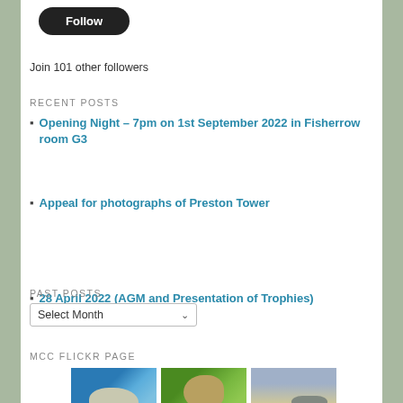[Figure (other): Follow button — dark rounded rectangle with white text]
Join 101 other followers
RECENT POSTS
Opening Night – 7pm on 1st September 2022 in Fisherrow room G3
Appeal for photographs of Preston Tower
28 April 2022 (AGM and Presentation of Trophies)
Club Photoshoot at Figgate Park, Portobello
The 158th Edinburgh International Exhibition of Photography 2022
PAST POSTS
Select Month
MCC FLICKR PAGE
[Figure (photo): Three Flickr thumbnail photos: a seabird over water, a macro insect shot on green background, a coastal landscape]